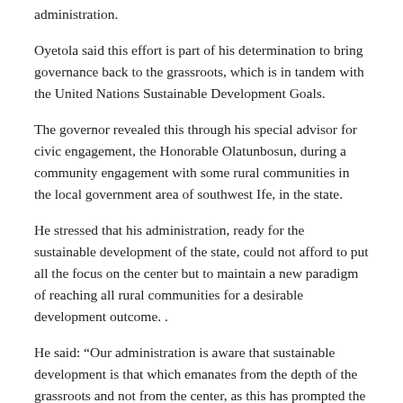administration.
Oyetola said this effort is part of his determination to bring governance back to the grassroots, which is in tandem with the United Nations Sustainable Development Goals.
The governor revealed this through his special advisor for civic engagement, the Honorable Olatunbosun, during a community engagement with some rural communities in the local government area of southwest Ife, in the state.
He stressed that his administration, ready for the sustainable development of the state, could not afford to put all the focus on the center but to maintain a new paradigm of reaching all rural communities for a desirable development outcome. .
He said: “Our administration is aware that sustainable development is that which emanates from the depth of the grassroots and not from the center, as this has prompted the ongoing rural engagement campaign.